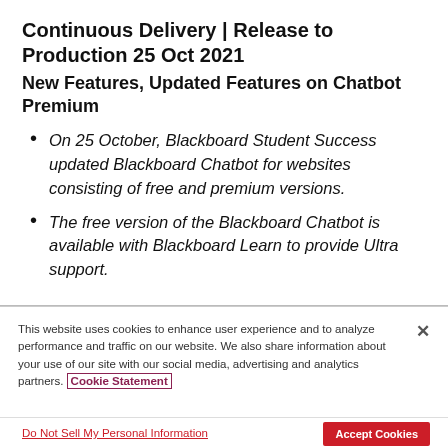Continuous Delivery | Release to Production 25 Oct 2021
New Features, Updated Features on Chatbot Premium
On 25 October, Blackboard Student Success updated Blackboard Chatbot for websites consisting of free and premium versions.
The free version of the Blackboard Chatbot is available with Blackboard Learn to provide Ultra support.
This website uses cookies to enhance user experience and to analyze performance and traffic on our website. We also share information about your use of our site with our social media, advertising and analytics partners. Cookie Statement